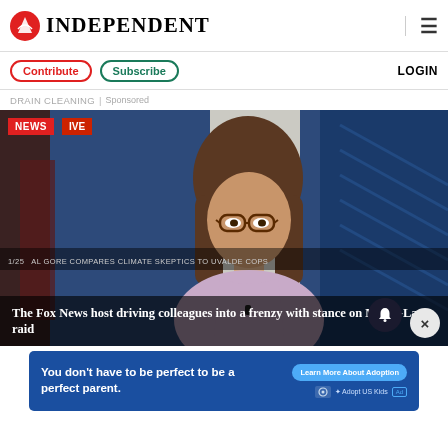INDEPENDENT
Contribute  Subscribe  LOGIN
DRAIN CLEANING | Sponsored
[Figure (screenshot): Screenshot of a Fox News broadcast showing a female anchor with glasses in a TV studio. A red NEWS badge is in the top-left. A semi-transparent caption overlay reads: The Fox News host driving colleagues into a frenzy with stance on Mar-a-Lago raid. A ticker-style overlay reads: AL GORE COMPARES CLIMATE SKEPTICS TO UVALDE COPS. Notification bell and close (X) buttons in lower right.]
[Figure (infographic): Blue advertisement banner reading: You don't have to be perfect to be a perfect parent. With a Learn More About Adoption button and Adopt US Kids logo.]